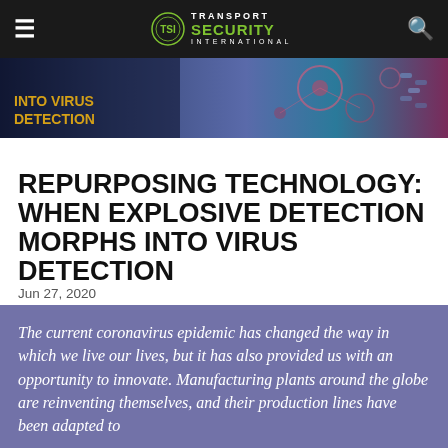Transport Security International
[Figure (photo): Hero banner image showing virus detection / molecular imagery with text overlay 'INTO VIRUS DETECTION']
REPURPOSING TECHNOLOGY: WHEN EXPLOSIVE DETECTION MORPHS INTO VIRUS DETECTION
Jun 27, 2020
The current coronavirus epidemic has changed the way in which we live our lives, but it has also provided us with an opportunity to innovate. Manufacturing plants around the globe are reinventing themselves, and their production lines have been adapted to